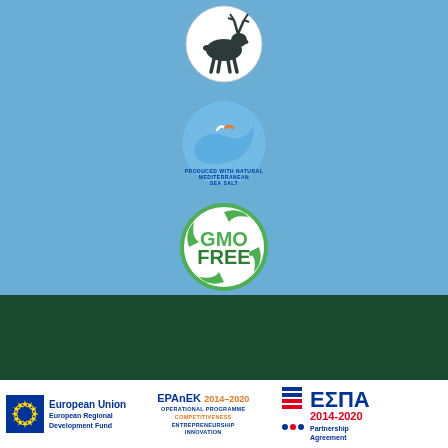[Figure (logo): Reindeer silhouette logo in a white circle on blue background]
[Figure (logo): Produced with Natural Mediterranean Sea Salt logo — wave and bird in a circle]
[Figure (logo): GMO FREE logo in a green circle]
Cookies To ensure the proper functioning of the website, we sometimes place small data files on your computer, the so-called "cookies". Most websites do the same.
[Figure (logo): European Union / European Regional Development Fund logo with EU stars flag]
[Figure (logo): EPAnEK 2014-2020 Operational Programme Competitiveness Entrepreneurship Innovation logo]
[Figure (logo): ΕΣΠΑ 2014-2020 Partnership Agreement logo]